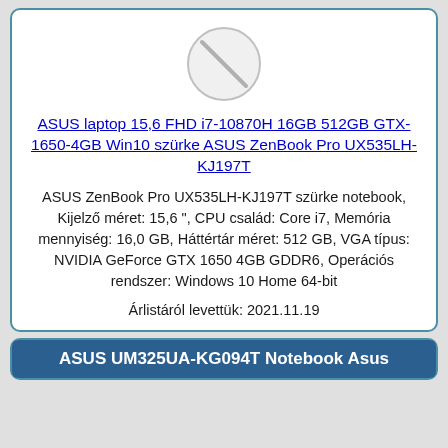[Figure (other): Circular placeholder image with a diagonal slash indicating no image available]
ASUS laptop 15,6 FHD i7-10870H 16GB 512GB GTX-1650-4GB Win10 szürke ASUS ZenBook Pro UX535LH-KJ197T
ASUS ZenBook Pro UX535LH-KJ197T szürke notebook, Kijelző méret: 15,6 ", CPU család: Core i7, Memória mennyiség: 16,0 GB, Háttértár méret: 512 GB, VGA típus: NVIDIA GeForce GTX 1650 4GB GDDR6, Operációs rendszer: Windows 10 Home 64-bit
Árlistáról levettük: 2021.11.19
ASUS UM325UA-KG094T Notebook Asus